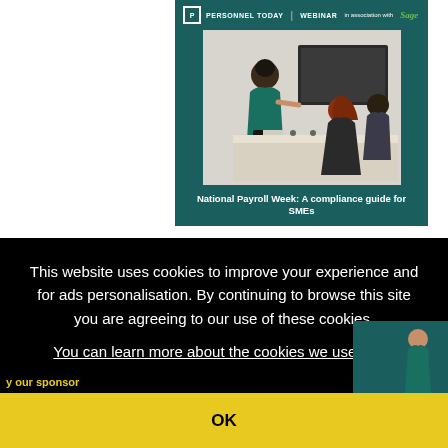[Figure (screenshot): Personnel Today Webinar in association with Sage banner, showing a photo of a woman presenting in a meeting room, with the title 'National Payroll Week: A compliance guide for SMEs']
This website uses cookies to improve your experience and for ads personalisation. By continuing to browse this site you are agreeing to our use of these cookies. You can learn more about the cookies we use here.
OK